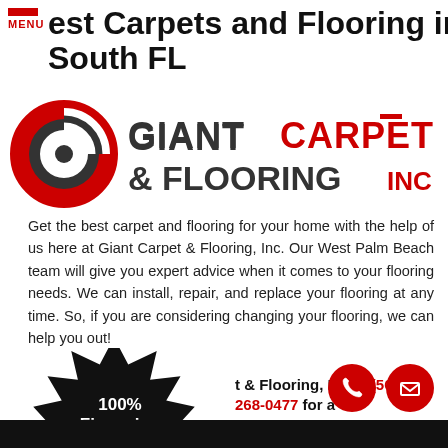MENU
Best Carpets and Flooring in South FL
[Figure (logo): Giant Carpet & Flooring Inc logo with stylized G icon in red and dark grey, company name in bold red and dark grey text]
Get the best carpet and flooring for your home with the help of us here at Giant Carpet & Flooring, Inc. Our West Palm Beach team will give you expert advice when it comes to your flooring needs. We can install, repair, and replace your flooring at any time. So, if you are considering changing your flooring, we can help you out!
Giant Carpet & Flooring, Inc at (561) 268-0477 for a Free Estimate and Consultation!
[Figure (infographic): Black starburst badge reading 100% Financing Available! *ask for details]
[Figure (infographic): Red circle phone icon and red circle email/envelope icon]